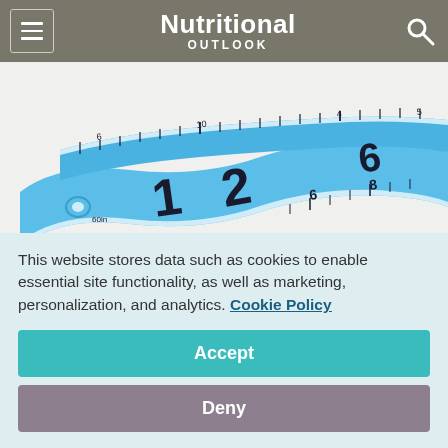Nutritional OUTLOOK
[Figure (photo): Blue flexible tape measure coiled on a white background, showing measurement markings with numbers 1 through 8 visible.]
Photo © iStockphoto.com/shirhan
New research results out of Finland suggest DuPont Nutrition & Health (Madison, WI) probiotic strain Bifidobacterium animalis...
This website stores data such as cookies to enable essential site functionality, as well as marketing, personalization, and analytics. Cookie Policy
Accept
Deny